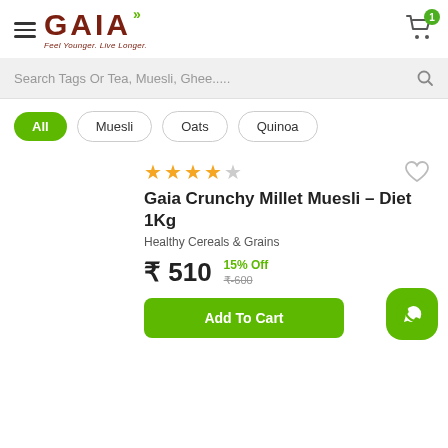[Figure (logo): GAIA logo with green chevrons and tagline 'Feel Younger. Live Longer.']
Search Tags Or Tea, Muesli, Ghee.....
All
Muesli
Oats
Quinoa
★★★★☆ Gaia Crunchy Millet Muesli – Diet 1Kg
Healthy Cereals & Grains
₹ 510  15% Off  ₹-600
Add To Cart